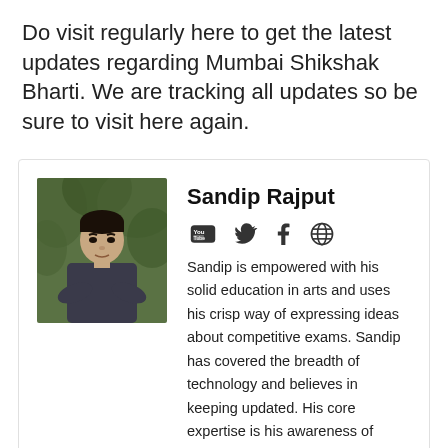Do visit regularly here to get the latest updates regarding Mumbai Shikshak Bharti. We are tracking all updates so be sure to visit here again.
[Figure (photo): Portrait photo of Sandip Rajput, a young man with crossed arms wearing a dark shirt, with green foliage background]
Sandip Rajput
Sandip is empowered with his solid education in arts and uses his crisp way of expressing ideas about competitive exams. Sandip has covered the breadth of technology and believes in keeping updated. His core expertise is his awareness of educational requirements and possible knowledge to be delivered on time. Sandip is positive that a healthy blend of novelties would change smart education in a